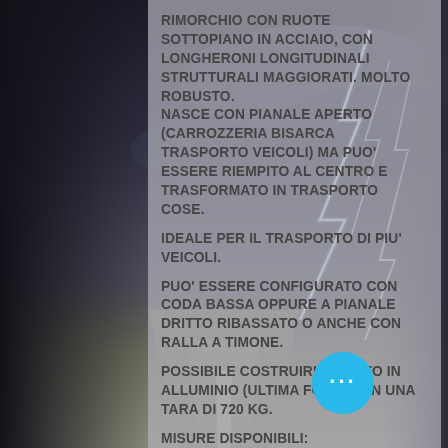[Figure (photo): Background photo of a stormy sky with lightning and a road stretching into the distance, overlaid with a semi-transparent grey panel containing text.]
RIMORCHIO CON RUOTE SOTTOPIANO IN ACCIAIO, CON LONGHERONI LONGITUDINALI STRUTTURALI MAGGIORATI. MOLTO ROBUSTO.
NASCE CON PIANALE APERTO (CARROZZERIA BISARCA TRASPORTO VEICOLI) MA PUO' ESSERE RIEMPITO AL CENTRO E TRASFORMATO IN TRASPORTO COSE.

IDEALE PER IL TRASPORTO DI PIU' VEICOLI.

PUO' ESSERE CONFIGURATO CON CODA BASSA OPPURE A PIANALE DRITTO RIBASSATO O ANCHE CON RALLA A TIMONE.

POSSIBILE COSTRUIRLO TUTTO IN ALLUMINIO (ULTIMA FOTO) CON UNA TARA DI 720 KG.

MISURE DISPONIBILI:
IN CONFIGURAZIONE DOPPIOASSE